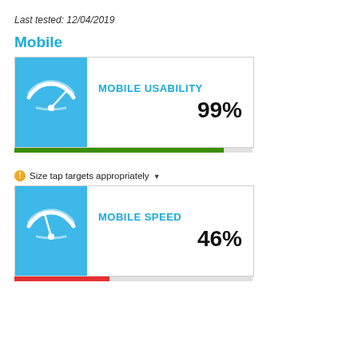Last tested: 12/04/2019
Mobile
[Figure (infographic): Mobile Usability gauge icon (speedometer on blue background) with score MOBILE USABILITY 99% and a green progress bar]
Size tap targets appropriately ▼
[Figure (infographic): Mobile Speed gauge icon (speedometer on blue background) with score MOBILE SPEED 46% and a red/grey progress bar]